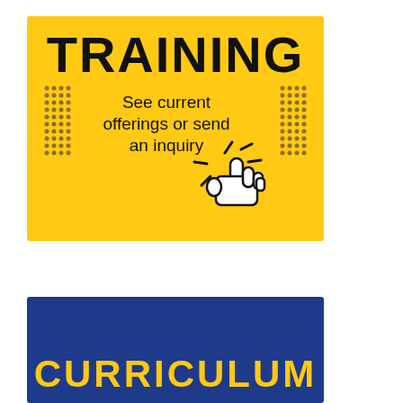[Figure (infographic): Yellow banner with bold black text TRAINING at top, followed by text 'See current offerings or send an inquiry', with decorative dot patterns on left and right sides, and a clicking hand cursor icon at bottom right]
[Figure (infographic): Blue rectangle banner with bold yellow text CURRICULUM at the bottom]